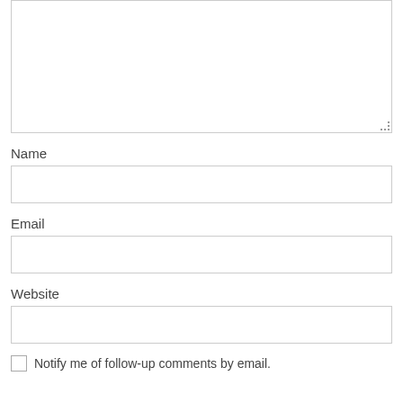[Figure (screenshot): A textarea input box (comment/text entry area) with a resize handle at the bottom right corner.]
Name
[Figure (screenshot): A single-line text input box for the Name field.]
Email
[Figure (screenshot): A single-line text input box for the Email field.]
Website
[Figure (screenshot): A single-line text input box for the Website field.]
Notify me of follow-up comments by email.